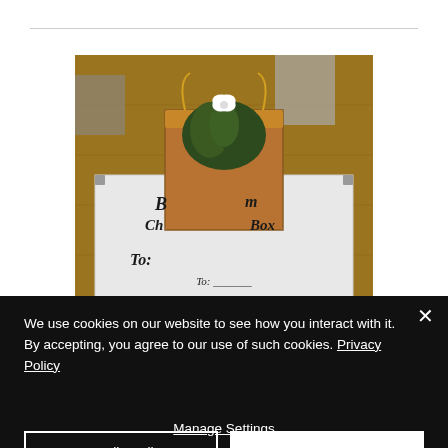[Figure (photo): A photograph showing a gift box with a plant inside a brown paper bag. The white box has decorative cursive text reading 'Bloom Christmas Box' and 'To:'. A small white flower or butterfly is visible above the plant. The box sits on a wooden parquet floor.]
We use cookies on our website to see how you interact with it. By accepting, you agree to our use of such cookies. Privacy Policy
Decline All
Accept
Manage Settings